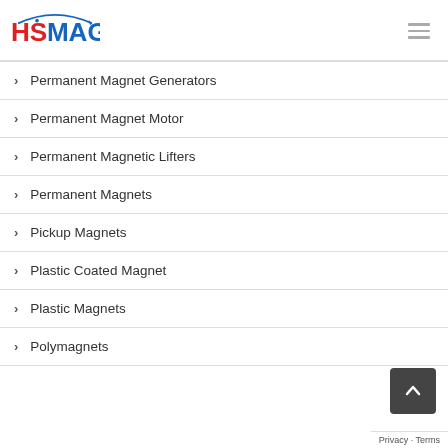HSMAG
Permanent Magnet Generators
Permanent Magnet Motor
Permanent Magnetic Lifters
Permanent Magnets
Pickup Magnets
Plastic Coated Magnet
Plastic Magnets
Polymagnets